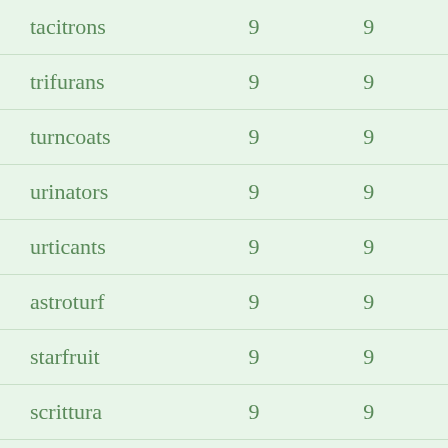| tacitrons | 9 | 9 |
| trifurans | 9 | 9 |
| turncoats | 9 | 9 |
| urinators | 9 | 9 |
| urticants | 9 | 9 |
| astroturf | 9 | 9 |
| starfruit | 9 | 9 |
| scrittura | 9 | 9 |
| trifactor | 9 | 9 |
| nitrators | 9 | 9 |